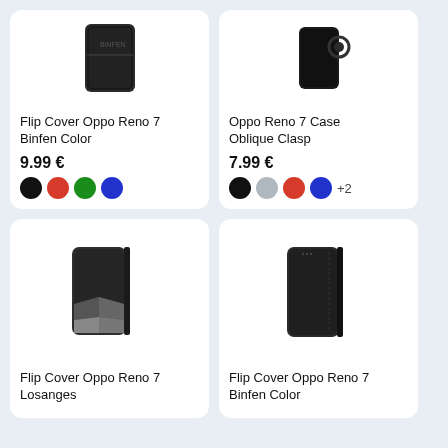[Figure (photo): Flip cover phone case in dark gray/black, closed view showing back, top portion visible]
Flip Cover Oppo Reno 7 Binfen Color
9.99 €
Color options: black (selected), red, green, blue
[Figure (photo): Oppo Reno 7 phone case Oblique Clasp in black with ring/clasp, top portion visible]
Oppo Reno 7 Case Oblique Clasp
7.99 €
Color options: black (selected), gray, red, blue, +2
[Figure (photo): Flip Cover Oppo Reno 7 Losanges in dark gray with geometric diamond pattern in lighter gray on lower portion]
Flip Cover Oppo Reno 7 Losanges
[Figure (photo): Flip Cover Oppo Reno 7 Binfen Color in dark charcoal gray, smooth leather-look closed flip cover]
Flip Cover Oppo Reno 7 Binfen Color